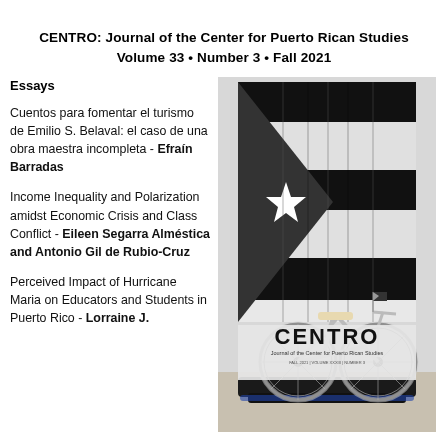CENTRO: Journal of the Center for Puerto Rican Studies
Volume 33 • Number 3 • Fall 2021
Essays
Cuentos para fomentar el turismo de Emilio S. Belaval: el caso de una obra maestra incompleta - Efraín Barradas
Income Inequality and Polarization amidst Economic Crisis and Class Conflict - Eileen Segarra Alméstica and Antonio Gil de Rubio-Cruz
Perceived Impact of Hurricane Maria on Educators and Students in Puerto Rico - Lorraine J.
[Figure (photo): Cover of CENTRO journal showing a bicycle in front of a large black and white Puerto Rican flag hanging on a wall, with small Puerto Rican flag on the bicycle handlebars.]